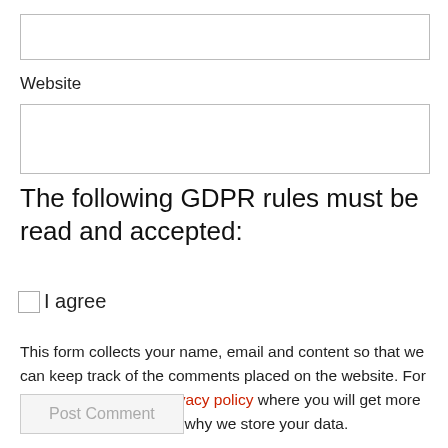[Figure (other): Empty text input field (top)]
Website
[Figure (other): Empty text input field for Website]
The following GDPR rules must be read and accepted:
I agree (checkbox)
This form collects your name, email and content so that we can keep track of the comments placed on the website. For more info check our privacy policy where you will get more info on where, how and why we store your data.
[Figure (other): Post Comment button (greyed out)]